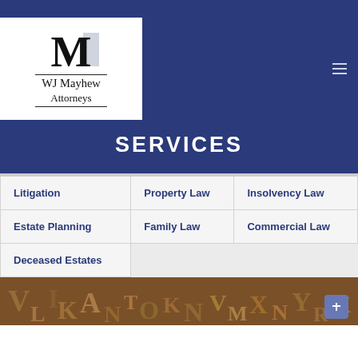[Figure (logo): WJ Mayhew Attorneys logo with stylized M monogram]
SERVICES
| Litigation | Property Law | Insolvency Law |
| Estate Planning | Family Law | Commercial Law |
| Deceased Estates |  |  |
[Figure (photo): Background photo of scattered alphabet letters in warm brown tones]